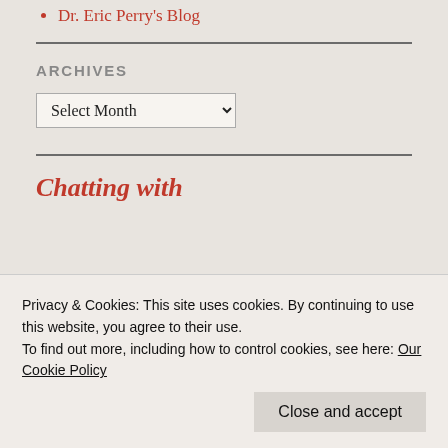Dr. Eric Perry's Blog
ARCHIVES
Select Month (dropdown)
Chatting with (partial heading visible)
Privacy & Cookies: This site uses cookies. By continuing to use this website, you agree to their use. To find out more, including how to control cookies, see here: Our Cookie Policy
Close and accept